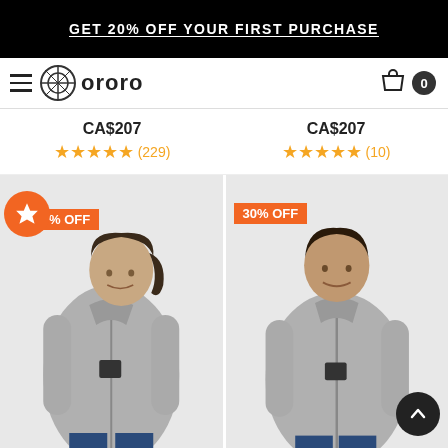GET 20% OFF YOUR FIRST PURCHASE
[Figure (logo): Ororo brand logo with hamburger menu and shopping cart with count 0]
CA$207   ★★★★★ (229)   CA$207   ★★★★★ (10)
[Figure (photo): Left product: Woman wearing grey heated fleece jacket, with % OFF badge and star badge. Right product: Man wearing grey heated fleece jacket, 30% OFF badge.]